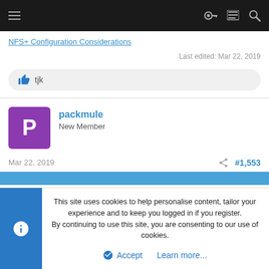[Figure (screenshot): Top navigation bar with hamburger menu, key icon, list icon, and search icon on dark background]
NFS+ Configuration Considerations
Last edited: Mar 22, 2019
tjk
packmule
New Member
Mar 22, 2019
#1,553
This site uses cookies to help personalise content, tailor your experience and to keep you logged in if you register.
By continuing to use this site, you are consenting to our use of cookies.
Accept
Learn more...